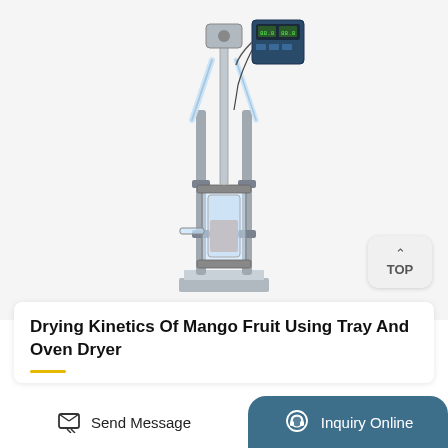[Figure (photo): Laboratory glass reactor/bioreactor on a metal stand with a digital control panel, glass cylindrical vessel, condenser tubes, and stainless steel base and support rods.]
Drying Kinetics Of Mango Fruit Using Tray And Oven Dryer
Send Message
Inquiry Online